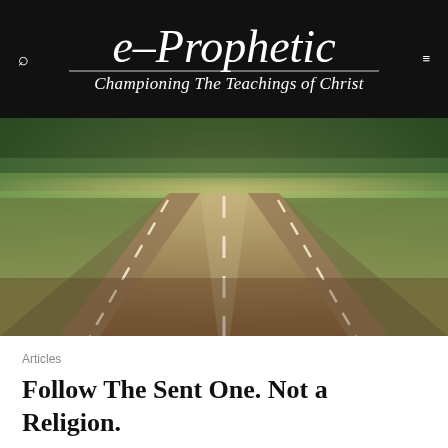e-Prophetic | Championing The Teachings of Christ
[Figure (photo): A long straight road stretching into the horizon, flanked by trees, with warm golden light. Perspective shot from road level.]
Articles
Follow The Sent One. Not a Religion.